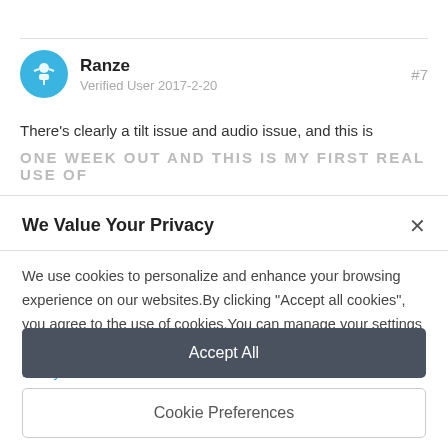Ranze
Verified User 2017-2-20
#7
There's clearly a tilt issue and audio issue, and this is
ONE WEEK OUT AND THIS IS MY FIRST REAL USE OF
We Value Your Privacy
We use cookies to personalize and enhance your browsing experience on our websites.By clicking "Accept all cookies", you agree to the use of cookies.You can manage your settings at any time through Cookie Preferences or read our Cookie Policy to learn more.
Accept All
Cookie Preferences